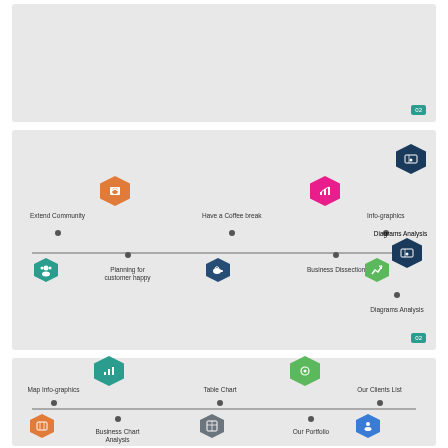[Figure (infographic): Slide 1: blank gray presentation slide with page number 02]
[Figure (infographic): Slide 2: timeline infographic with 6 steps: Extend Community (teal hex), Planning for customer happy (orange hex), Have a Coffee break (blue hex), Business Dissection (pink hex), Info-graphics (green hex), Diagrams Analysis (navy hex). Page number 02.]
[Figure (infographic): Slide 3 (partial): timeline infographic with steps: Map Info-graphics (orange hex), Business Chart Analysis (teal hex), Table Chart (gray hex), Our Portfolio (green hex), Our Clients List (blue hex), Location (teal hex), Thank You (black hex).]